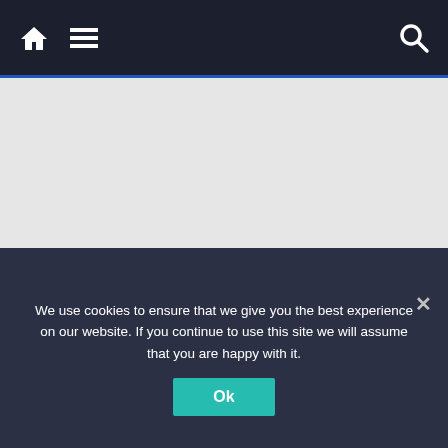Navigation bar with home icon, menu icon, and search icon
[Figure (other): Gray advertisement banner area]
About Us: The Sofia Globe
The Sofia Globe provides news, features, insight and analysis about Bulgaria, Central and Eastern Europe and the wider world according to the high professional standards of independence and objectivity that we have
We use cookies to ensure that we give you the best experience on our website. If you continue to use this site we will assume that you are happy with it.